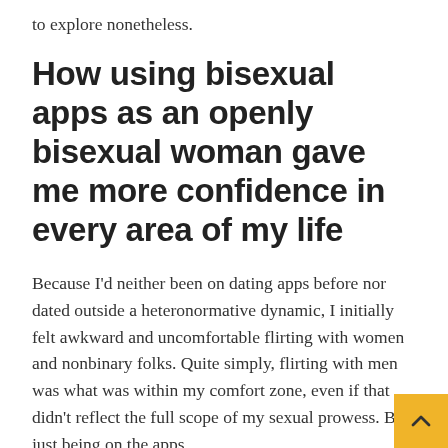to explore nonetheless.
How using bisexual apps as an openly bisexual woman gave me more confidence in every area of my life
Because I'd neither been on dating apps before nor dated outside a heteronormative dynamic, I initially felt awkward and uncomfortable flirting with women and nonbinary folks. Quite simply, flirting with men was what was within my comfort zone, even if that didn't reflect the full scope of my sexual prowess. But, just being on the apps